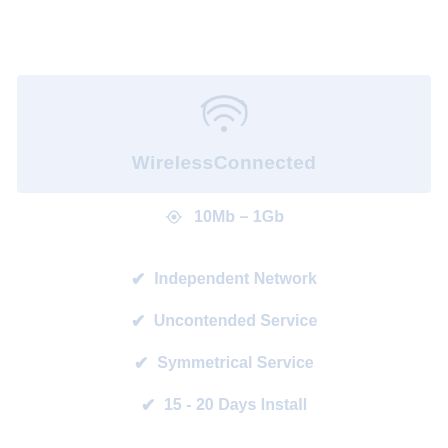[Figure (illustration): Light blue hero banner with a wireless/WiFi icon and the text WirelessConnected]
WirelessConnected
10Mb – 1Gb
Independent Network
Uncontended Service
Symmetrical Service
15 - 20 Days Install